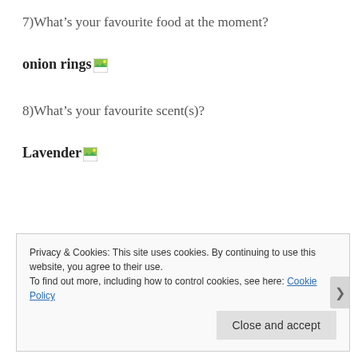7)What’s your favourite food at the moment?
onion rings
8)What’s your favourite scent(s)?
Lavender
Privacy & Cookies: This site uses cookies. By continuing to use this website, you agree to their use.
To find out more, including how to control cookies, see here: Cookie Policy